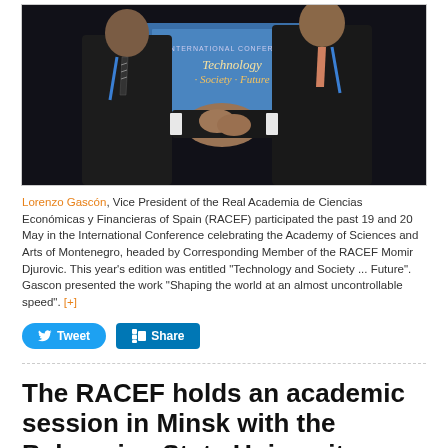[Figure (photo): Two men in suits shaking hands at an International Conference with a banner reading 'Technology · Society · Future' visible in the background.]
Lorenzo Gascón, Vice President of the Real Academia de Ciencias Económicas y Financieras of Spain (RACEF) participated the past 19 and 20 May in the International Conference celebrating the Academy of Sciences and Arts of Montenegro, headed by Corresponding Member of the RACEF Momir Djurovic. This year's edition was entitled "Technology and Society ... Future". Gascon presented the work "Shaping the world at an almost uncontrollable speed". [+]
The RACEF holds an academic session in Minsk with the Belarusian State University